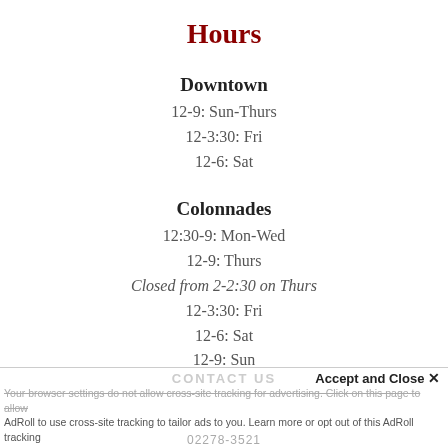Hours
Downtown
12-9: Sun-Thurs
12-3:30: Fri
12-6: Sat
Colonnades
12:30-9: Mon-Wed
12-9: Thurs
Closed from 2-2:30 on Thurs
12-3:30: Fri
12-6: Sat
12-9: Sun
CONTACT US | Accept and Close × | Your browser settings do not allow cross-site tracking for advertising. Click on this page to allow AdRoll to use cross-site tracking to tailor ads to you. Learn more or opt out of this AdRoll tracking by clicking here. This message only appears once.